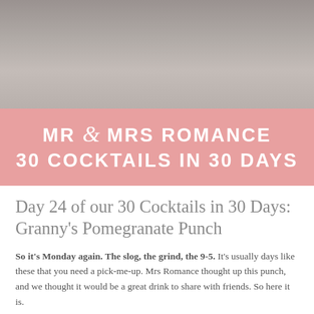[Figure (photo): Photo of cocktail glasses on a table, muted gray-brown tones]
MR & MRS ROMANCE 30 COCKTAILS IN 30 DAYS
Day 24 of our 30 Cocktails in 30 Days: Granny's Pomegranate Punch
So it's Monday again. The slog, the grind, the 9-5. It's usually days like these that you need a pick-me-up. Mrs Romance thought up this punch, and we thought it would be a great drink to share with friends. So here it is.
The fizzy sweetness of the cider and the bitter fruitiness of the pomegranate work really well together. The vodka adds a bit more punch to the punch. It's so tasty we decided